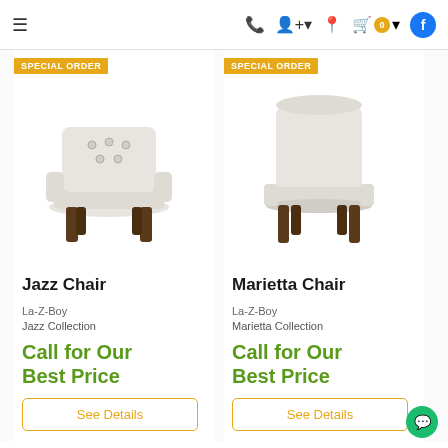Navigation bar with hamburger menu, phone, account, location, cart (0), and Facebook icon
[Figure (photo): Jazz Chair - upholstered accent chair in light gray/white fabric with tufted back and dark wood legs, La-Z-Boy, with SPECIAL ORDER badge]
Jazz Chair
La-Z-Boy
Jazz Collection
Call for Our Best Price
See Details
[Figure (photo): Marietta Chair - tall-backed upholstered accent chair in light gray/white fabric with dark wood legs, La-Z-Boy, with SPECIAL ORDER badge]
Marietta Chair
La-Z-Boy
Marietta Collection
Call for Our Best Price
See Details